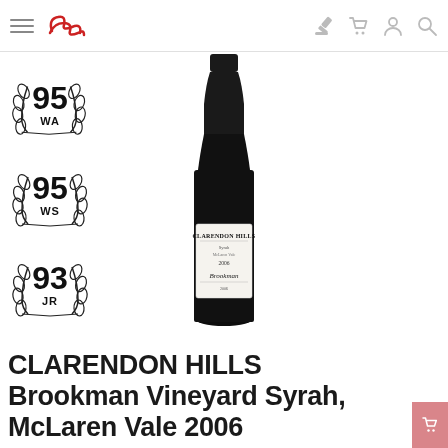Navigation bar with hamburger menu, logo, auction icon, cart icon, account icon, search icon
[Figure (other): Score badge: 95 WA with laurel wreath]
[Figure (other): Score badge: 95 WS with laurel wreath]
[Figure (other): Score badge: 93 JR with laurel wreath]
[Figure (photo): Wine bottle: Clarendon Hills Brookman Vineyard Syrah McLaren Vale 2006, dark bottle with white label]
CLARENDON HILLS Brookman Vineyard Syrah, McLaren Vale 2006